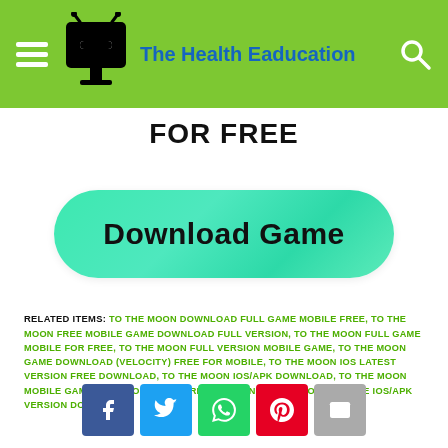The Health Eaducation
FOR FREE
[Figure (other): Green rounded button with text 'Download Game']
RELATED ITEMS: TO THE MOON DOWNLOAD FULL GAME MOBILE FREE, TO THE MOON FREE MOBILE GAME DOWNLOAD FULL VERSION, TO THE MOON FULL GAME MOBILE FOR FREE, TO THE MOON FULL VERSION MOBILE GAME, TO THE MOON GAME DOWNLOAD (VELOCITY) FREE FOR MOBILE, TO THE MOON IOS LATEST VERSION FREE DOWNLOAD, TO THE MOON IOS/APK DOWNLOAD, TO THE MOON MOBILE GAME DOWNLOAD FULL FREE VERSION, TO THE MOON MOBILE IOS/APK VERSION DOWNLOAD
[Figure (other): Social share buttons: Facebook, Twitter, WhatsApp, Pinterest, Email]